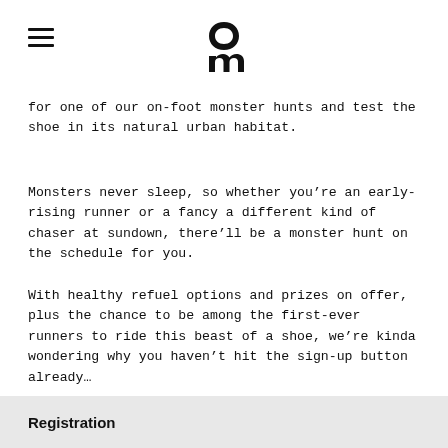[On logo] [hamburger menu]
for one of our on-foot monster hunts and test the shoe in its natural urban habitat.
Monsters never sleep, so whether you’re an early-rising runner or a fancy a different kind of chaser at sundown, there’ll be a monster hunt on the schedule for you.
With healthy refuel options and prizes on offer, plus the chance to be among the first-ever runners to ride this beast of a shoe, we’re kinda wondering why you haven’t hit the sign-up button already…
Hope to see you out there London
Registration